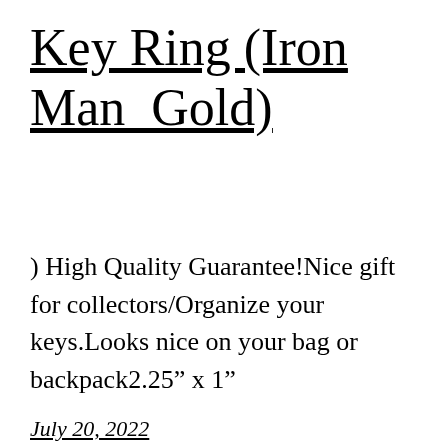Key Ring (Iron Man_Gold)
) High Quality Guarantee!Nice gift for collectors/Organize your keys.Looks nice on your bag or backpack2.25” x 1”
July 20, 2022